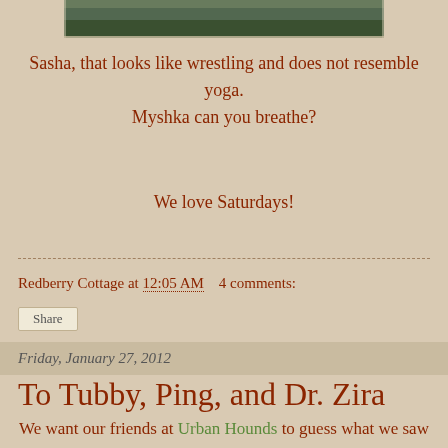[Figure (photo): Top portion of a photograph showing grass/outdoor scene, partially cropped at the top of the page]
Sasha, that looks like wrestling and does not resemble yoga. Myshka can you breathe?
We love Saturdays!
Redberry Cottage at 12:05 AM   4 comments:
Share
Friday, January 27, 2012
To Tubby, Ping, and Dr. Zira
We want our friends at Urban Hounds to guess what we saw in town!